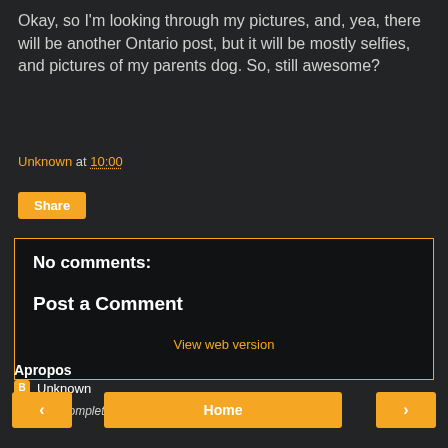Okay, so I'm looking through my pictures, and, yea, there will be another Ontario post, but it will be mostly selfies, and pictures of my parents dog. So, still awesome?
Unknown at 10:00
Share
No comments:
Post a Comment
View web version
Apropos
Unknown
View my complete profile